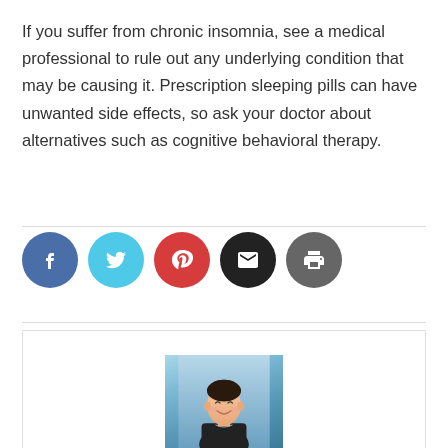If you suffer from chronic insomnia, see a medical professional to rule out any underlying condition that may be causing it. Prescription sleeping pills can have unwanted side effects, so ask your doctor about alternatives such as cognitive behavioral therapy.
[Figure (photo): Social sharing buttons: Facebook (blue), Twitter (cyan), Pinterest (red), Email (black), Print (dark gray)]
[Figure (photo): Photo of a smiling young woman in a dark top, photographed against a light blue background inside a card/profile box]